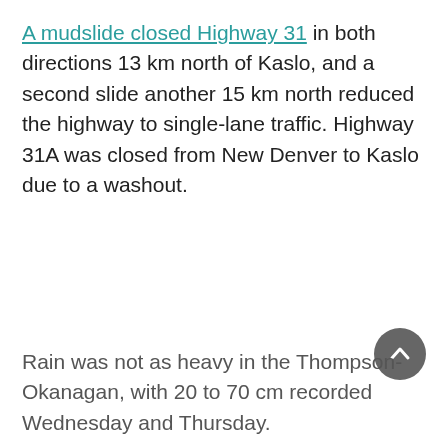A mudslide closed Highway 31 in both directions 13 km north of Kaslo, and a second slide another 15 km north reduced the highway to single-lane traffic. Highway 31A was closed from New Denver to Kaslo due to a washout.
Rain was not as heavy in the Thompson-Okanagan, with 20 to 70 cm recorded Wednesday and Thursday.